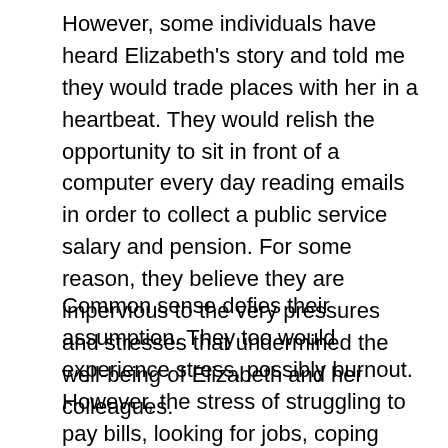However, some individuals have heard Elizabeth's story and told me they would trade places with her in a heartbeat. They would relish the opportunity to sit in front of a computer every day reading emails in order to collect a public service salary and pension. For some reason, they believe they are impervious to the very pressures and stresses that undermined the well-being of Elizabeth and her colleagues.
Common sense defies their assumption. They too would experience stress, possibly burnout. However, the stress of struggling to pay bills, looking for jobs, coping with unemployment also takes a toll on health and well-being. The